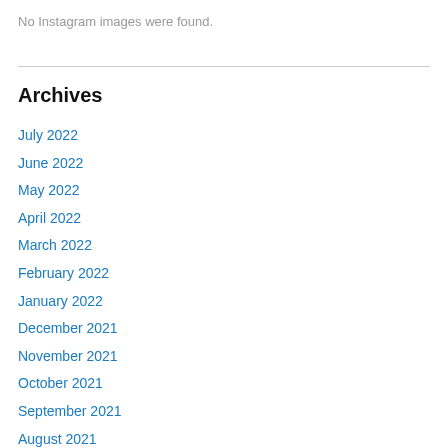No Instagram images were found.
Archives
July 2022
June 2022
May 2022
April 2022
March 2022
February 2022
January 2022
December 2021
November 2021
October 2021
September 2021
August 2021
July 2021
June 2021